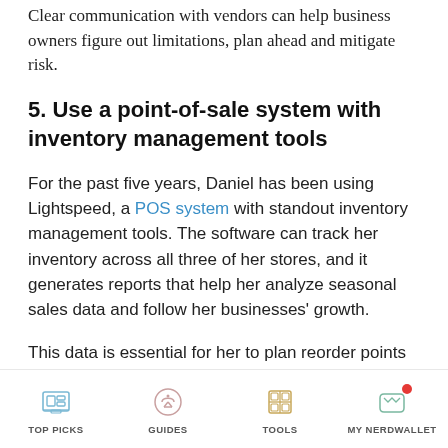Clear communication with vendors can help business owners figure out limitations, plan ahead and mitigate risk.
5. Use a point-of-sale system with inventory management tools
For the past five years, Daniel has been using Lightspeed, a POS system with standout inventory management tools. The software can track her inventory across all three of her stores, and it generates reports that help her analyze seasonal sales data and follow her businesses' growth.
This data is essential for her to plan reorder points and determine which items will reliably sell. Especially with a small staff and multiple locations,
TOP PICKS  GUIDES  TOOLS  MY NERDWALLET